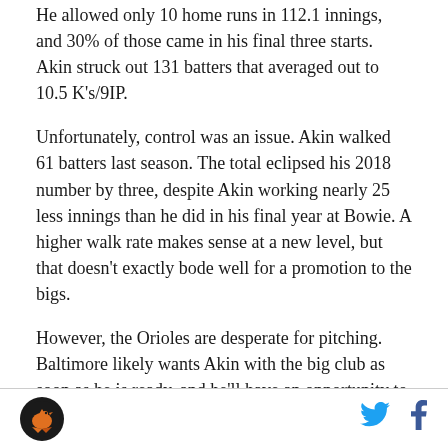He allowed only 10 home runs in 112.1 innings, and 30% of those came in his final three starts. Akin struck out 131 batters that averaged out to 10.5 K's/9IP.
Unfortunately, control was an issue. Akin walked 61 batters last season. The total eclipsed his 2018 number by three, despite Akin working nearly 25 less innings than he did in his final year at Bowie. A higher walk rate makes sense at a new level, but that doesn't exactly bode well for a promotion to the bigs.
However, the Orioles are desperate for pitching. Baltimore likely wants Akin with the big club as soon as he is ready, and he'll have an opportunity to prove that in the spring. If Akin shows improved control in
[Figure (logo): Circular logo with dark background and stylized bird/hawk graphic in orange]